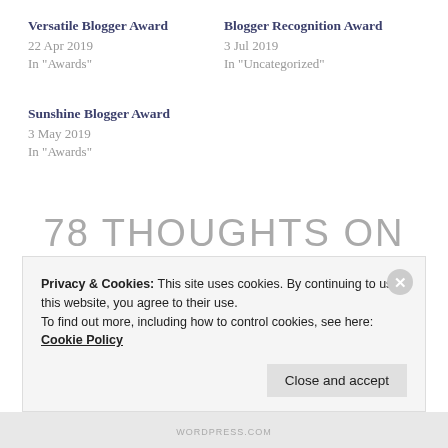Versatile Blogger Award
22 Apr 2019
In "Awards"
Blogger Recognition Award
3 Jul 2019
In "Uncategorized"
Sunshine Blogger Award
3 May 2019
In "Awards"
78 THOUGHTS ON "VERSATILE BLOGGER
Privacy & Cookies: This site uses cookies. By continuing to use this website, you agree to their use.
To find out more, including how to control cookies, see here: Cookie Policy
Close and accept